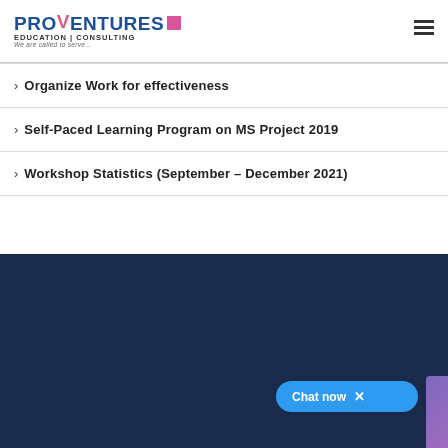[Figure (logo): Proventures Education | Consulting logo with tagline 'We are called to serve...']
Organize Work for effectiveness
Self-Paced Learning Program on MS Project 2019
Workshop Statistics (September – December 2021)